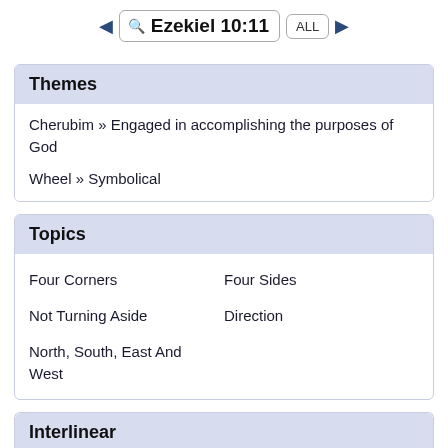Ezekiel 10:11  ALL
Themes
Cherubim » Engaged in accomplishing the purposes of God
Wheel » Symbolical
Topics
Four Corners
Four Sides
Not Turning Aside
Direction
North, South, East And West
Interlinear